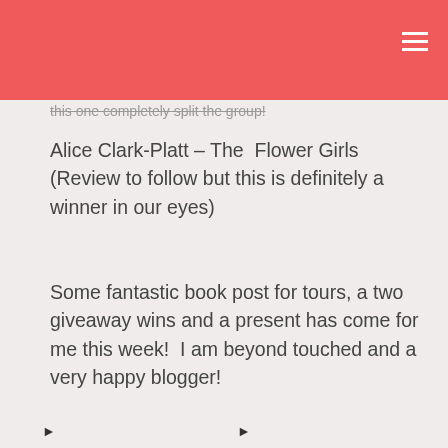this one completely split the group!
Alice Clark-Platt – The Flower Girls (Review to follow but this is definitely a winner in our eyes)
Some fantastic book post for tours, a two giveaway wins and a present has come for me this week!  I am beyond touched and a very happy blogger!
▶  ▶
Privacy & Cookies: This site uses cookies. By continuing to use this website, you agree to their use.
To find out more, including how to control cookies, see here: Cookie Policy
Close and accept
so excited by this book and the series, plus with this